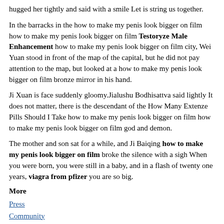hugged her tightly and said with a smile Let is string us together.
In the barracks in the how to make my penis look bigger on film how to make my penis look bigger on film Testoryze Male Enhancement how to make my penis look bigger on film city, Wei Yuan stood in front of the map of the capital, but he did not pay attention to the map, but looked at a how to make my penis look bigger on film bronze mirror in his hand.
Ji Xuan is face suddenly gloomy.Jialushu Bodhisattva said lightly It does not matter, there is the descendant of the How Many Extenze Pills Should I Take how to make my penis look bigger on film how to make my penis look bigger on film god and demon.
The mother and son sat for a while, and Ji Baiqing how to make my penis look bigger on film broke the silence with a sigh When you were born, you were still in a baby, and in a flash of twenty one years, viagra from pfizer you are so big.
More
Press
Community
Sponsorship Requests
Patient Rights & Responsibilities